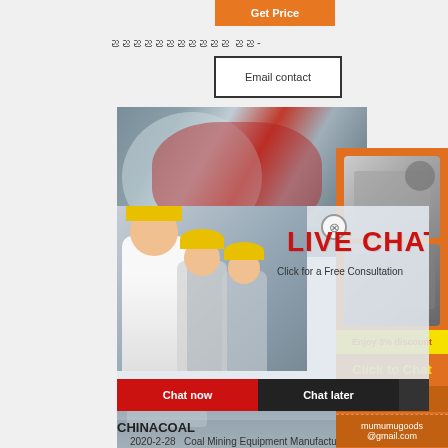[Figure (other): Orange 'Get Price' button at top]
ညညညညညညညညညညည ညည -
Email contact
[Figure (photo): Industrial mining ball mill machine photo]
[Figure (photo): Live Chat overlay with workers in yellow hard hats, LIVE CHAT heading, Click for a Free Consultation, Chat now and Chat later buttons]
[Figure (photo): Right sidebar with orange background showing mining equipment images, Enjoy 3% discount, Click to Chat, Enquiry, and mumumugoods@gmail.com]
CHINACOAL
2020-2-28   Coal Mining Equipment Manufacturing China National Coal Mining Equipment Company Limited, a subsidiary of